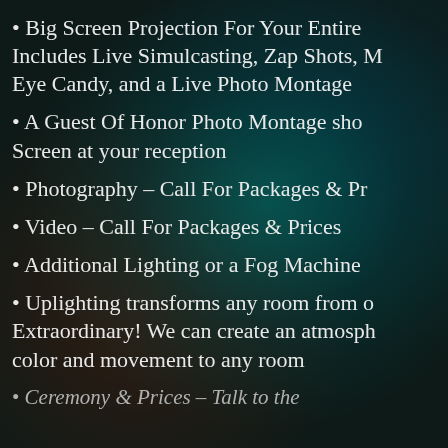Big Screen Projection For Your Entire Includes Live Simulcasting, Zap Shots, M Eye Candy, and a Live Photo Montage
A Guest Of Honor Photo Montage sho Screen at your reception
Photography – Call For Packages & Pr
Video – Call For Packages & Prices
Additional Lighting or a Fog Machine
Uplighting transforms any room from o Extraordinary! We can create an atmosph color and movement to any room
Ceremony & Prices – Talk to the...